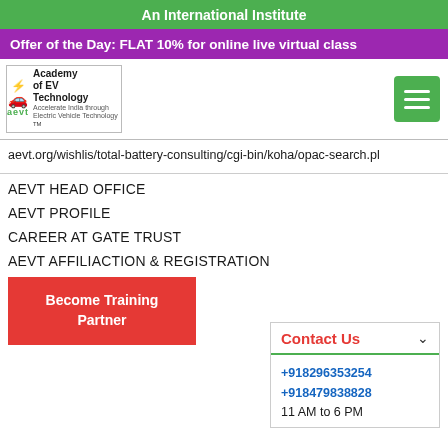An International Institute
Offer of the Day: FLAT 10% for online live virtual class
[Figure (logo): Academy of EV Technology (AEVT) logo with green text and car icon]
aevt.org/wishlis/total-battery-consulting/cgi-bin/koha/opac-search.pl
AEVT HEAD OFFICE
AEVT PROFILE
CAREER AT GATE TRUST
AEVT AFFILIACTION & REGISTRATION
AEVT ADVISER BOARD
QUALITY ASSESSMENT
AEVT ALUMNI
Contact Us
+918296353254
+918479838828
11 AM to 6 PM
Become Training Partner